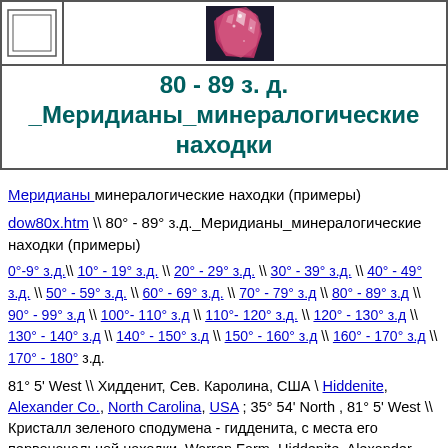[Figure (photo): Crystal mineral photo (red/pink) with left frame box]
80 - 89 з. д. _Меридианы_минералогические находки
Меридианы минералогические находки (примеры)
dow80x.htm \\ 80° - 89° з.д._Меридианы_минералогические находки (примеры)
0°-9° з.д.\\ 10° - 19° з.д. \\ 20° - 29° з.д. \\ 30° - 39° з.д. \\ 40° - 49° з.д. \\ 50° - 59° з.д. \\ 60° - 69° з.д. \\ 70° - 79° з.д \\ 80° - 89° з.д \\ 90° - 99° з.д \\ 100°- 110° з.д \\ 110°- 120° з.д. \\ 120° - 130° з.д \\ 130° - 140° з.д \\ 140° - 150° з.д \\ 150° - 160° з.д \\ 160° - 170° з.д \\ 170° - 180° з.д.
81° 5' West \\ Хидденит, Сев. Каролина, США \ Hiddenite, Alexander Co., North Carolina, USA ; 35° 54' North , 81° 5' West \\ Кристалл зеленого сподумена - гидденита, с места его первоначальной находки. Warren Farm, Hiddenite, Alexander Co., North Carolina, USA. Образец: Тусон-шоу-2020. Фото: